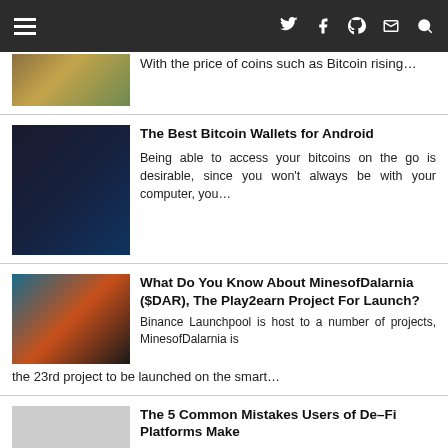Navigation bar with menu and social icons
With the price of coins such as Bitcoin rising…
The Best Bitcoin Wallets for Android
Being able to access your bitcoins on the go is desirable, since you won't always be with your computer, you…
What Do You Know About MinesofDalarnia ($DAR), The Play2earn Project For Launch?
Binance Launchpool is host to a number of projects, MinesofDalarnia is the 23rd project to be launched on the smart…
The 5 Common Mistakes Users of De-Fi Platforms Make
It is quite easy to make mistakes that